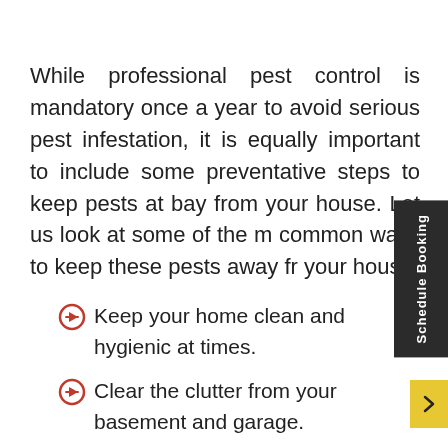While professional pest control is mandatory once a year to avoid serious pest infestation, it is equally important to include some preventative steps to keep pests at bay from your house. Let us look at some of the most common ways to keep these pests away from your house:
Keep your home clean and hygienic at all times.
Clear the clutter from your basement and garage.